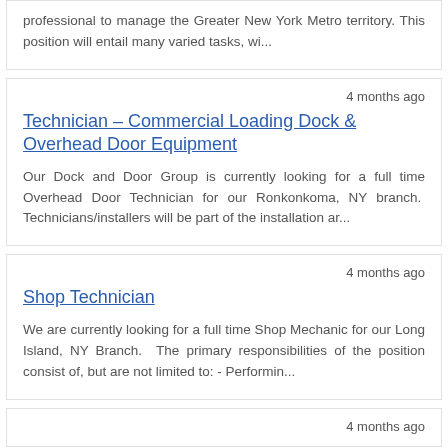professional to manage the Greater New York Metro territory. This position will entail many varied tasks, wi...
4 months ago
Technician – Commercial Loading Dock & Overhead Door Equipment
Our Dock and Door Group is currently looking for a full time Overhead Door Technician for our Ronkonkoma, NY branch.  Technicians/installers will be part of the installation ar...
4 months ago
Shop Technician
We are currently looking for a full time Shop Mechanic for our Long Island, NY Branch.  The primary responsibilities of the position consist of, but are not limited to: - Performin...
4 months ago